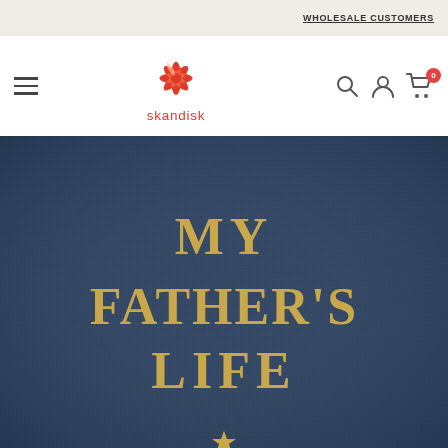WHOLESALE CUSTOMERS
[Figure (logo): Skandisk logo: red snowflake/star design above 'skandisk' text in red]
[Figure (photo): Close-up of a dark navy blue textured book cover with gold serif text reading 'MY FATHER'S LIFE' and a gold star at the bottom]